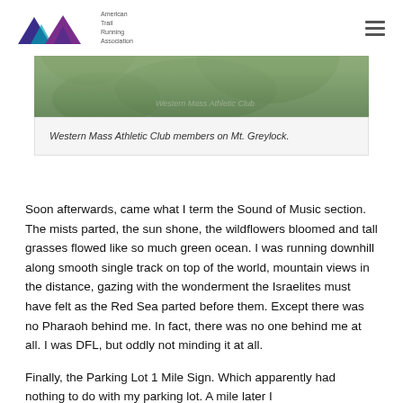American Trail Running Association
[Figure (photo): Outdoor photo of Western Mass Athletic Club members on Mt. Greylock, showing green foliage and mountain scenery with text overlay 'Western Mass Athletic Club']
Western Mass Athletic Club members on Mt. Greylock.
Soon afterwards, came what I term the Sound of Music section. The mists parted, the sun shone, the wildflowers bloomed and tall grasses flowed like so much green ocean. I was running downhill along smooth single track on top of the world, mountain views in the distance, gazing with the wonderment the Israelites must have felt as the Red Sea parted before them. Except there was no Pharaoh behind me. In fact, there was no one behind me at all. I was DFL, but oddly not minding it at all.
Finally, the Parking Lot 1 Mile Sign. Which apparently had nothing to do with my parking lot. A mile later I